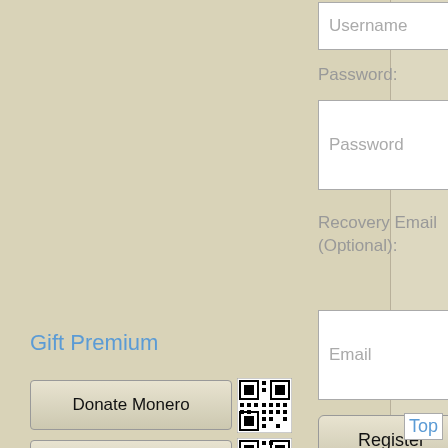Username
Password:
Password
Recovery Email (Optional):
Email
Register
Gift Premium
Donate Monero
[Figure (other): QR code for Monero donation]
Donate BTC
[Figure (other): QR code for BTC donation]
Donate
Top